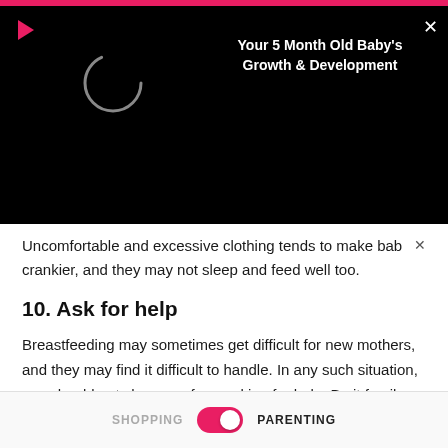[Figure (screenshot): Black video card overlay showing a loading circle on the left and bold white title text 'Your 5 Month Old Baby's Growth & Development' on the right, with a red play icon top-left and white X close button top-right]
Uncomfortable and excessive clothing tends to make bab crankier, and they may not sleep and feed well too.
10. Ask for help
Breastfeeding may sometimes get difficult for new mothers, and they may find it difficult to handle. In any such situation, you should not shy away from asking for help. Be it family, friends or even your doctor, reach out to people and ask for help and assistance.
SHOPPING   [toggle]   PARENTING